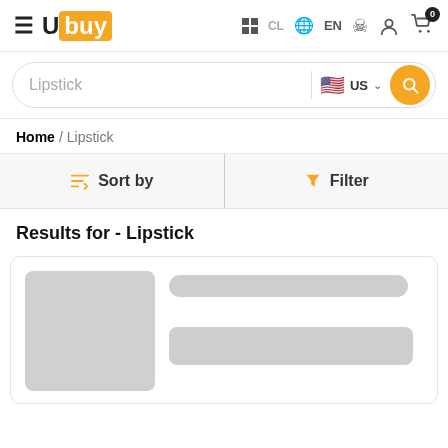Ubuy — CL EN header with cart (0 items)
Lipstick — US search bar
Home / Lipstick
Sort by | Filter
Results for - Lipstick
[Figure (screenshot): Loading skeleton of a product card with grey image placeholder and grey text bars]